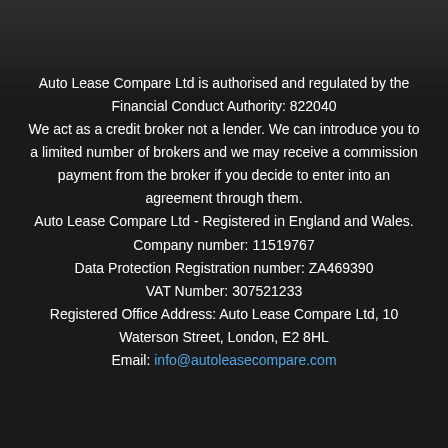Auto Lease Compare Ltd is authorised and regulated by the Financial Conduct Authority: 822040
We act as a credit broker not a lender. We can introduce you to a limited number of brokers and we may receive a commission payment from the broker if you decide to enter into an agreement through them.
Auto Lease Compare Ltd - Registered in England and Wales.
Company number: 11519767
Data Protection Registration number: ZA469390
VAT Number: 307521233
Registered Office Address: Auto Lease Compare Ltd, 10 Waterson Street, London, E2 8HL
Email: info@autoleasecompare.com